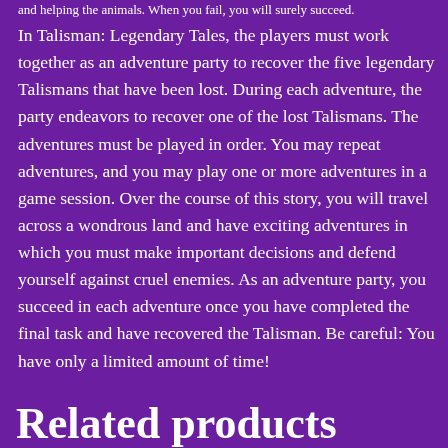and helping the animals. When you fail, you will surely succeed.
In Talisman: Legendary Tales, the players must work together as an adventure party to recover the five legendary Talismans that have been lost. During each adventure, the party endeavors to recover one of the lost Talismans. The adventures must be played in order. You may repeat adventures, and you may play one or more adventures in a game session. Over the course of this story, you will travel across a wondrous land and have exciting adventures in which you must make important decisions and defend yourself against cruel enemies. As an adventure party, you succeed in each adventure once you have completed the final task and have recovered the Talisman. Be careful: You have only a limited amount of time!
Related products